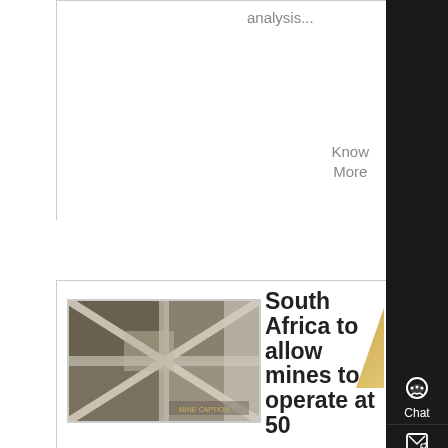analysis...
Know More
[Figure (photo): Photo of a mine structure with crossed metal beams and lattice fencing]
South Africa to allow mines to operate at 50